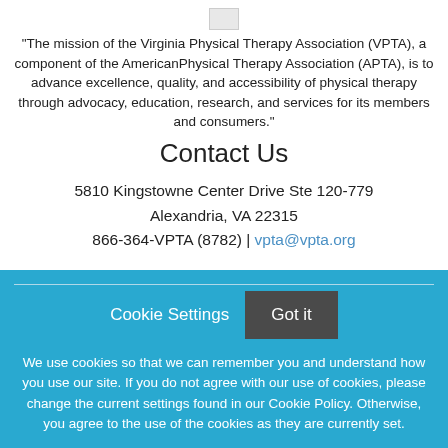[Figure (logo): Small logo image at top center]
"The mission of the Virginia Physical Therapy Association (VPTA), a component of the AmericanPhysical Therapy Association (APTA), is to advance excellence, quality, and accessibility of physical therapy through advocacy, education, research, and services for its members and consumers."
Contact Us
5810 Kingstowne Center Drive Ste 120-779
Alexandria, VA 22315
866-364-VPTA (8782) | vpta@vpta.org
Cookie Settings
Got it
We use cookies so that we can remember you and understand how you use our site. If you do not agree with our use of cookies, please change the current settings found in our Cookie Policy. Otherwise, you agree to the use of the cookies as they are currently set.